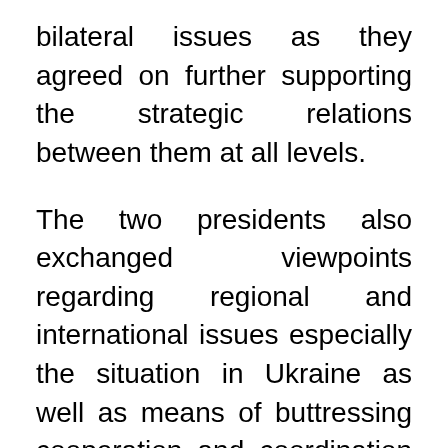bilateral issues as they agreed on further supporting the strategic relations between them at all levels.
The two presidents also exchanged viewpoints regarding regional and international issues especially the situation in Ukraine as well as means of buttressing cooperation and coordination ahead of Egypt's hosting of the UN Climate Conference (COP27) in Sharm El Sheikh in November. They also reviewed the prominent roles of Egypt and France in the issues of environment and climate, added